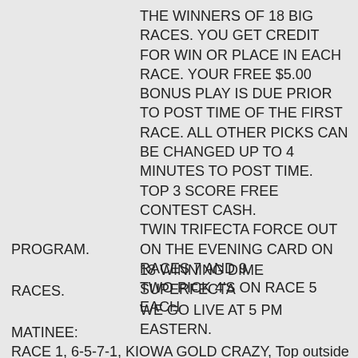THE WINNERS OF 18 BIG RACES. YOU GET CREDIT FOR WIN OR PLACE IN EACH RACE. YOUR FREE $5.00 BONUS PLAY IS DUE PRIOR TO POST TIME OF THE FIRST RACE. ALL OTHER PICKS CAN BE CHANGED UP TO 4 MINUTES TO POST TIME. TOP 3 SCORE FREE CONTEST CASH. TWIN TRIFECTA FORCE OUT ON THE EVENING CARD ON RACES 7 AND 9. TWO PICK 4'S ON RACE 5 EACH PROGRAM.
18 WINNING DIME SUPERFECTA RACES.
WE GO LIVE AT 5 PM EASTERN.
MATINEE:
RACE 1, 6-5-7-1, KIOWA GOLD CRAZY, Top outside rush from Derby Lane.